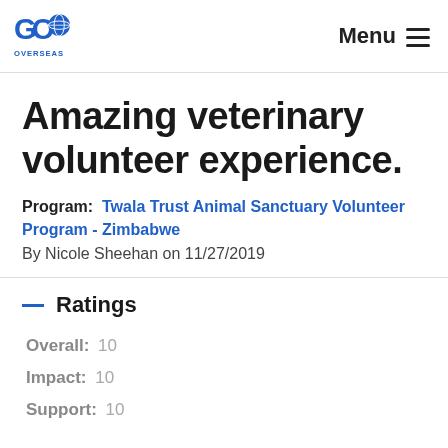Go Overseas | Menu
Amazing veterinary volunteer experience.
Program:  Twala Trust Animal Sanctuary Volunteer Program - Zimbabwe
By Nicole Sheehan on 11/27/2019
Ratings
Overall:  10
Impact:  10
Support:  10